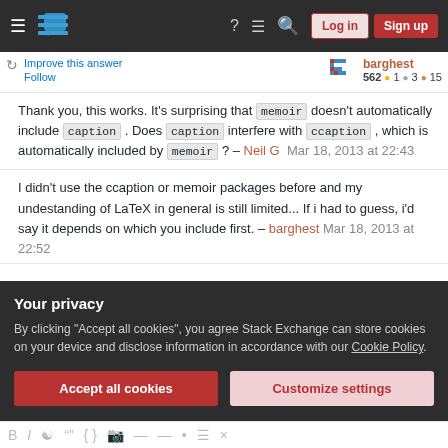Stack Exchange navigation bar with hamburger menu, logo, help, chat, search icons, Log in and Sign up buttons
Improve this answer  Follow  barghest  562  1  3  15
Thank you, this works. It's surprising that memoir doesn't automatically include caption . Does caption interfere with ccaption , which is automatically included by memoir ? — Neil G  Mar 18, 2013 at 22:43
I didn't use the ccaption or memoir packages before and my undestanding of LaTeX in general is still limited... If i had to guess, i'd say it depends on which you include first. — barghest  Mar 18, 2013 at 22:52
Your privacy
By clicking "Accept all cookies", you agree Stack Exchange can store cookies on your device and disclose information in accordance with our Cookie Policy.
Accept all cookies   Customize settings